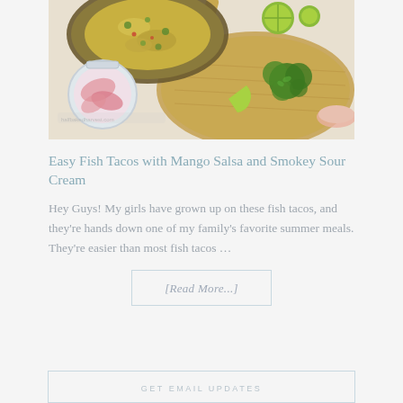[Figure (photo): Overhead/top-down view of fish taco ingredients including a pan with food, limes, fresh cilantro, pickled onions in a jar, wooden cutting boards, and a small bowl of sauce on a white surface.]
Easy Fish Tacos with Mango Salsa and Smokey Sour Cream
Hey Guys! My girls have grown up on these fish tacos, and they're hands down one of my family's favorite summer meals. They're easier than most fish tacos …
[Read More...]
GET EMAIL UPDATES